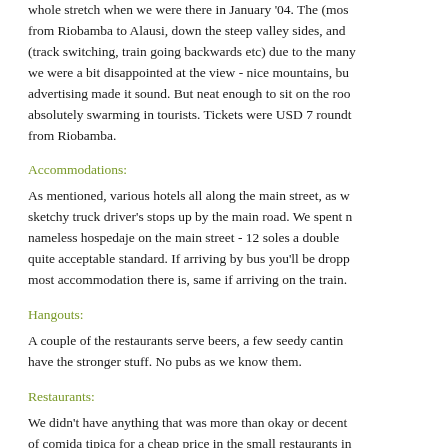whole stretch when we were there in January '04. The (most) from Riobamba to Alausi, down the steep valley sides, and (track switching, train going backwards etc) due to the many we were a bit disappointed at the view - nice mountains, but advertising made it sound. But neat enough to sit on the roo absolutely swarming in tourists. Tickets were USD 7 roundt from Riobamba.
Accommodations:
As mentioned, various hotels all along the main street, as w sketchy truck driver's stops up by the main road. We spent n nameless hospedaje on the main street - 12 soles a double quite acceptable standard. If arriving by bus you'll be droppe most accommodation there is, same if arriving on the train.
Hangouts:
A couple of the restaurants serve beers, a few seedy cantin have the stronger stuff. No pubs as we know them.
Restaurants:
We didn't have anything that was more than okay or decent of comida tipica for a cheap price in the small restaurants in couple of pizza places.